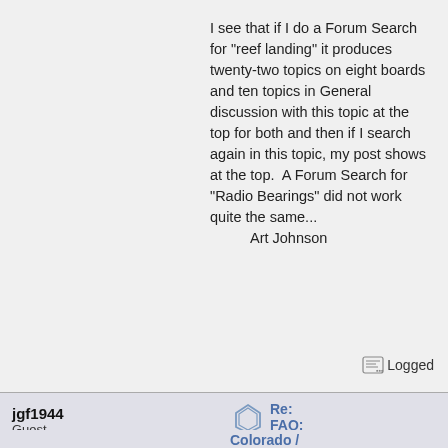I see that if I do a Forum Search for "reef landing" it produces twenty-two topics on eight boards and ten topics in General discussion with this topic at the top for both and then if I search again in this topic, my post shows at the top.  A Forum Search for "Radio Bearings" did not work quite the same...
        Art Johnson
Logged
jgf1944
Guest
Re:
FAQ:
Colorado /